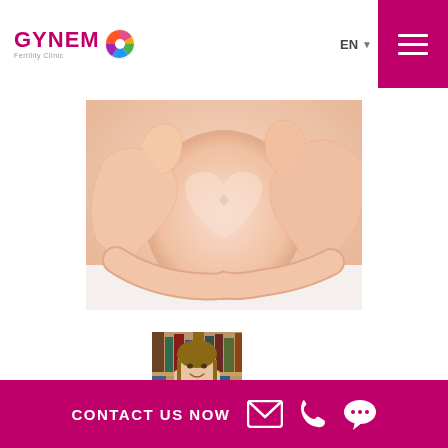GYNEM Fertility Clinic — EN
[Figure (photo): Close-up photo of a pregnant woman's belly with two pairs of hands forming a heart shape over it]
[Figure (photo): Portrait thumbnail of a woman (doctor or patient) standing in front of a bookshelf, smiling]
CONTACT US NOW